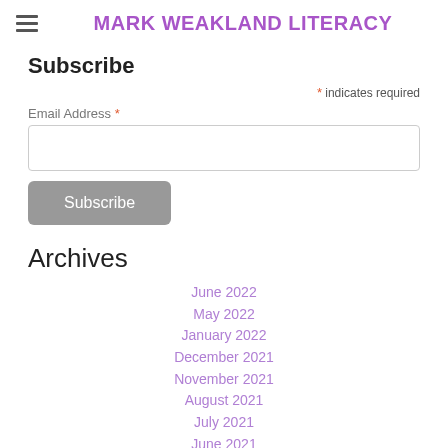MARK WEAKLAND LITERACY
Subscribe
* indicates required
Email Address *
Subscribe
Archives
June 2022
May 2022
January 2022
December 2021
November 2021
August 2021
July 2021
June 2021